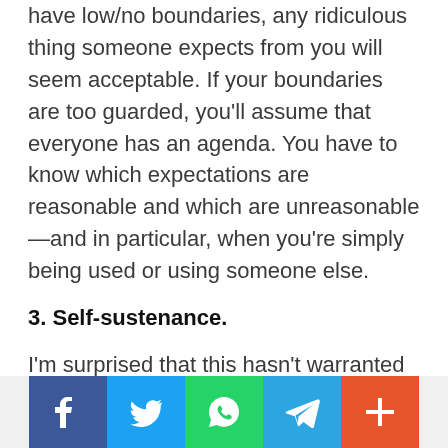have low/no boundaries, any ridiculous thing someone expects from you will seem acceptable. If your boundaries are too guarded, you'll assume that everyone has an agenda. You have to know which expectations are reasonable and which are unreasonable—and in particular, when you're simply being used or using someone else.
3. Self-sustenance.
I'm surprised that this hasn't warranted a mention. Maturity begins with being able to take care of yourself, independent of others. If you can't put a roof over your head, food on the table, and pay your own way, you are not an adult, you are effectively a child